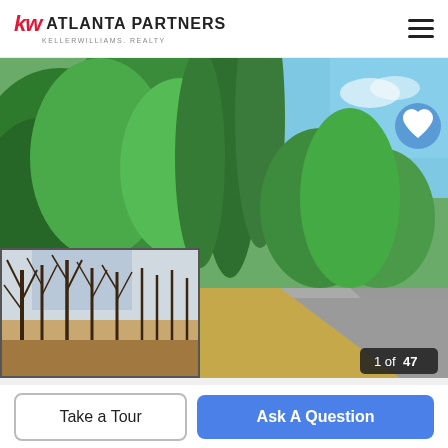KW ATLANTA PARTNERS - KELLERWILLIAMS. REALTY
[Figure (photo): Outdoor scene showing a paved road with dense green trees and forest foliage on the left, blue sky visible at upper right. A smaller thumbnail inset at lower left shows bare winter trees with a mountain/lake view in the background. A heart icon button is in the upper right corner. A counter badge reads '1 of 47'.]
Take a Tour
Ask A Question